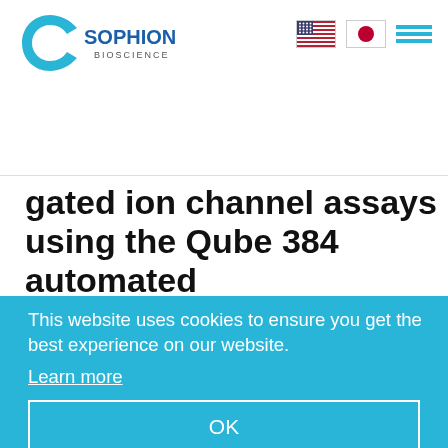[Figure (logo): Sophion Bioscience logo — teal C-shape with 'SOPHION BIOSCIENCE' wordmark]
[Figure (infographic): US flag icon, Japanese flag icon, and hamburger menu icon in the top navigation bar]
gated ion channel assays using the Qube 384 automated electrophysiology platform
[Figure (screenshot): Blue paper thumbnail showing text: 'Development and validation of ligand-gated ion channel assays using the Qube 384 automated electrophysiology platform']
This website uses cookies to ensure you get the best experience on our website.
Learn more
OK